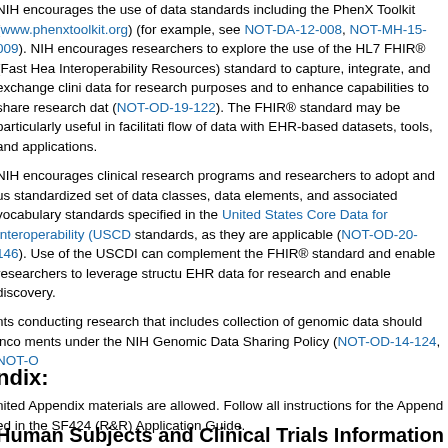NIH encourages the use of data standards including the PhenX Toolkit (www.phenxtoolkit.org) (for example, see NOT-DA-12-008, NOT-MH-15-009). NIH encourages researchers to explore the use of the HL7 FHIR® (Fast Health Interoperability Resources) standard to capture, integrate, and exchange clinical data for research purposes and to enhance capabilities to share research data (NOT-OD-19-122). The FHIR® standard may be particularly useful in facilitating flow of data with EHR-based datasets, tools, and applications.
NIH encourages clinical research programs and researchers to adopt and use a standardized set of data classes, data elements, and associated vocabulary standards specified in the United States Core Data for Interoperability (USCDI) standards, as they are applicable (NOT-OD-20-146). Use of the USCDI can complement the FHIR® standard and enable researchers to leverage structured EHR data for research and enable discovery.
nts conducting research that includes collection of genomic data should incorporate ments under the NIH Genomic Data Sharing Policy (NOT-OD-14-124, NOT-O
ndix:
nited Appendix materials are allowed. Follow all instructions for the Appendix ed in the SF424 (R&R) Application Guide.
Human Subjects and Clinical Trials Information
nvolving human subjects research, clinical research, and/or NIH-defined clini nd when applicable, clinical trials research experience) follow all instructions